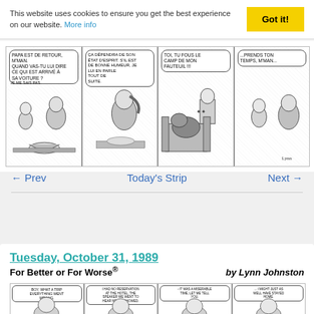This website uses cookies to ensure you get the best experience on our website. More info   Got it!
[Figure (illustration): Four-panel French-language comic strip. Panel 1: child and mother cooking, speech bubble 'PAPA EST DE RETOUR, M'MAN. QUAND VAS-TU LUI DIRE CE QUI EST ARRIVÉ À SA VOITURE ?', response 'JE ME SAIS PAS.' Panel 2: woman cooking, speech bubble 'ÇA DÉPENDRA DE SON ÉTAT D'ESPRIT. S'IL EST DE BONNE HUMEUR, JE LUI EN PARLE TOUT DE SUITE.' Panel 3: man yelling 'TOI, TU FOUS LE CAMP DE MON FAUTEUIL !!!' at dog. Panel 4: child to mother '...PRENDS TON TEMPS, M'MAN...']
← Prev
Today's Strip
Next →
Tuesday, October 31, 1989
For Better or For Worse®
by Lynn Johnston
[Figure (illustration): Four-panel comic strip. Panel 1: character saying 'BOY, WHAT A TRIP EVERYTHING WENT WRONG.' Panel 2: 'I HAD NO RESERVATION AT THE HOTEL, THE SPEAKER WE WENT TO HEAR NEVER SHOWED.' Panel 3: 'IT WAS A MISERABLE TIME, LET ME TELL YOU.' Panel 4: '... I MIGHT JUST AS WELL HAVE STAYED HOME.']